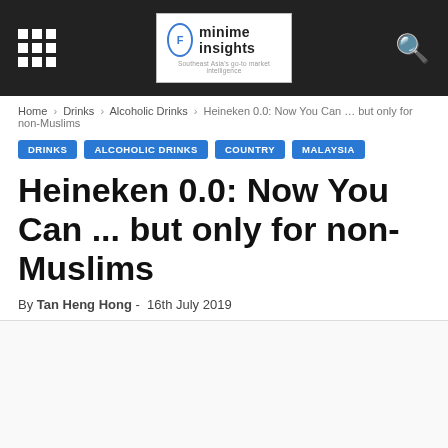minime insights
Home › Drinks › Alcoholic Drinks › Heineken 0.0: Now You Can … but only for non-Muslims
DRINKS
ALCOHOLIC DRINKS
COUNTRY
MALAYSIA
Heineken 0.0: Now You Can ... but only for non-Muslims
By Tan Heng Hong - 16th July 2019